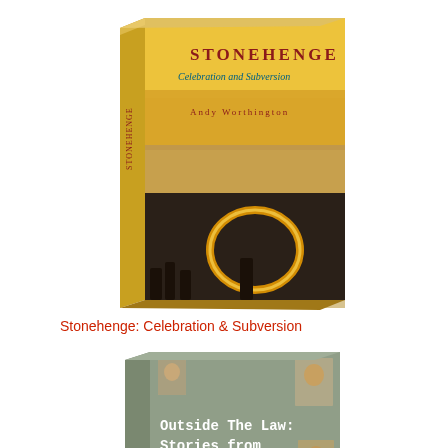[Figure (photo): Book cover of 'Stonehenge: Celebration and Subversion' by Andy Worthington, showing a yellow/orange top half with title text and a nighttime photo of people with fire spinning at Stonehenge on the bottom half. The book is shown in a 3D perspective angle.]
Stonehenge: Celebration & Subversion
[Figure (photo): DVD/book cover of 'Outside The Law: Stories from Guantánamo', a film by Polly Nash and Andy Worthington, Spectacle Productions 2009. The cover shows a grey-green background with small portrait photos of detainees and the title text in white. Shown in 3D perspective.]